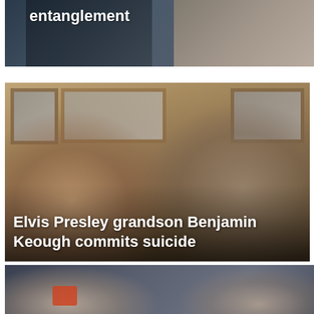[Figure (photo): Partial image at top of page with white text 'entanglement' overlaid on a dark background with two people visible]
[Figure (photo): Photo of a woman with long wavy hair leaning on a young man in a gray tank top, seated indoors with framed photos on the wall behind them. White text overlay reads 'Elvis Presley grandson Benjamin Keough commits suicide']
Elvis Presley grandson Benjamin Keough commits suicide
[Figure (photo): Partial image at bottom of page showing two people, partially cropped]